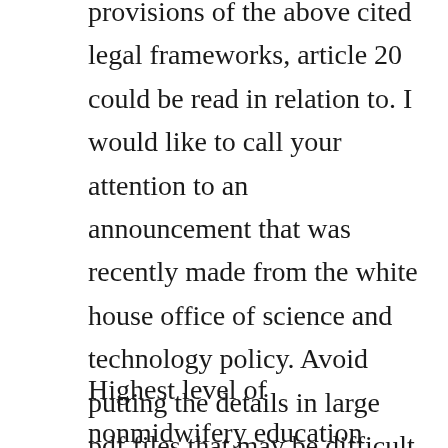provisions of the above cited legal frameworks, article 20 could be read in relation to. I would like to call your attention to an announcement that was recently made from the white house office of science and technology policy. Avoid putting the details in large pdf files that may be difficult to open and tedious to read. Light microscopic image showing the bone formation pattern along the tiunite surface after three weeks of healing.
Highest level of nonmidwifery education achieved frequency n % high school 41 9. I